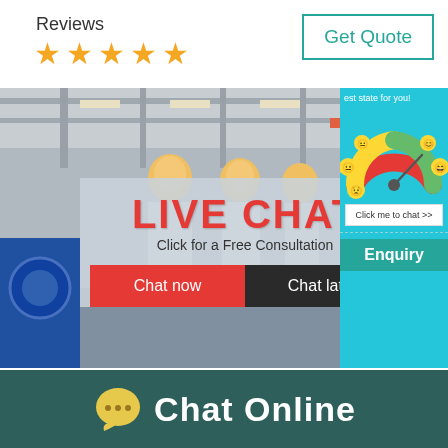Reviews
[Figure (illustration): Five orange star rating icons]
[Figure (other): Get Quote button with teal border]
[Figure (photo): Industrial factory floor with workers in yellow hard hats and white coats. Live chat overlay showing 'LIVE CHAT', 'Click for a Free Consultation', 'Chat now' (red button), 'Chat later' (dark button). Right side panel with teal background showing smiley face gauge and 'Click me to chat >>' button and 'Enquiry' label.]
[Figure (illustration): Chat Online button bar at bottom with yellow speech bubble icon and white text 'Chat Online' on dark teal background]